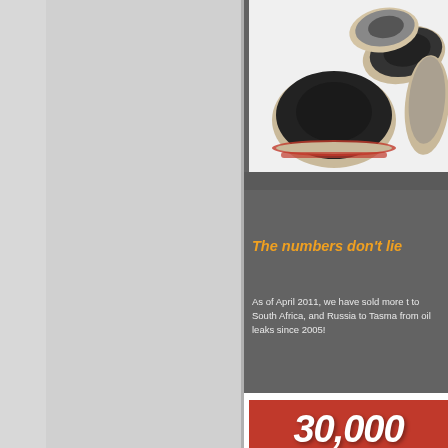[Figure (photo): Oil seals / shaft seals shown from above — three rubber oil seal rings with tan/beige outer casing and black rubber inner lip, one showing a red stripe accent, arranged on white background]
The numbers don't lie
As of April 2011, we have sold more t to South Africa, and Russia to Tasma from oil leaks since 2005!
[Figure (infographic): Red banner graphic showing large white bold italic text reading '30,000' (partially visible, number cut off)]